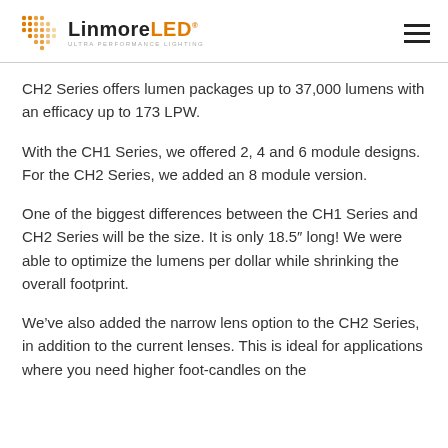LinmoreLED ULTRA PERFORMANCE LIGHTING
CH2 Series offers lumen packages up to 37,000 lumens with an efficacy up to 173 LPW.
With the CH1 Series, we offered 2, 4 and 6 module designs. For the CH2 Series, we added an 8 module version.
One of the biggest differences between the CH1 Series and CH2 Series will be the size. It is only 18.5″ long! We were able to optimize the lumens per dollar while shrinking the overall footprint.
We've also added the narrow lens option to the CH2 Series, in addition to the current lenses. This is ideal for applications where you need higher foot-candles on the